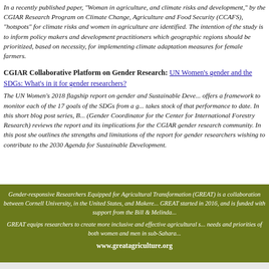In a recently published paper, "Woman in agriculture, and climate risks and development," by the CGIAR Research Program on Climate Change, Agriculture and Food Security (CCAFS), "hotspots" for climate risks and women in agriculture are identified. The intention of the study is to inform policy makers and development practitioners which geographic regions should be prioritized, based on necessity, for implementing climate adaptation measures for female farmers.
CGIAR Collaborative Platform on Gender Research: UN Women's gender and the SDGs: What's in it for gender researchers?
The UN Women's 2018 flagship report on gender and Sustainable Development Goals offers a framework to monitor each of the 17 goals of the SDGs from a gender lens and takes stock of that performance to date. In this short blog post series, B... (Gender Coordinator for the Center for International Forestry Research) reviews the report and its implications for the CGIAR gender research community. In this post she outlines the strengths and limitations of the report for gender researchers wishing to contribute to the 2030 Agenda for Sustainable Development.
Gender-responsive Researchers Equipped for Agricultural Transformation (GREAT) is a collaboration between Cornell University, in the United States, and Makerere... GREAT started in 2016, and is funded with support from the Bill & Melinda...
GREAT equips researchers to create more inclusive and effective agricultural s... needs and priorities of both women and men in sub-Sahara...
www.greatagriculture.org